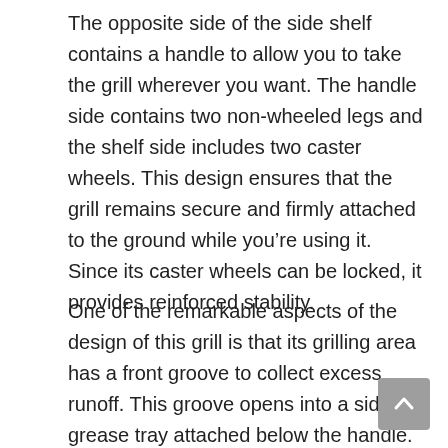The opposite side of the side shelf contains a handle to allow you to take the grill wherever you want. The handle side contains two non-wheeled legs and the shelf side includes two caster wheels. This design ensures that the grill remains secure and firmly attached to the ground while you're using it. Since its caster wheels can be locked, it provides reinforced stability.
One of the remarkable aspects of the design of this grill is that its grilling area has a front groove to collect excess runoff. This groove opens into a side grease tray attached below the handle. As for the propane tank, there's a holder for it on the opposite side of the grease tray.
In addition,this grill contains a non-stick, powder-coated steel base to collect the excess runoff for